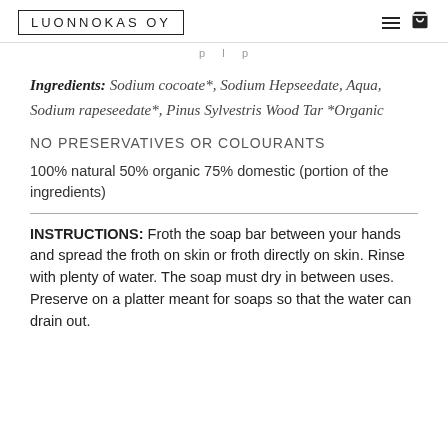LUONNOKAS OY
p  l  p
Ingredients: Sodium cocoate*, Sodium Hepseedate, Aqua, Sodium rapeseedate*, Pinus Sylvestris Wood Tar *Organic
NO PRESERVATIVES OR COLOURANTS
100% natural 50% organic 75% domestic (portion of the ingredients)
INSTRUCTIONS:  Froth the soap bar between your hands and spread the froth on skin or froth directly on skin. Rinse with plenty of water. The soap must dry in between uses. Preserve on a platter meant for soaps so that the water can drain out.